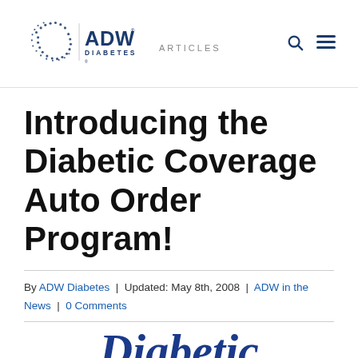ADW Diabetes | ARTICLES
Introducing the Diabetic Coverage Auto Order Program!
By ADW Diabetes | Updated: May 8th, 2008 | ADW in the News | 0 Comments
[Figure (logo): ADW Diabetes logo with stylized circular icon and text 'ADW DIABETES']